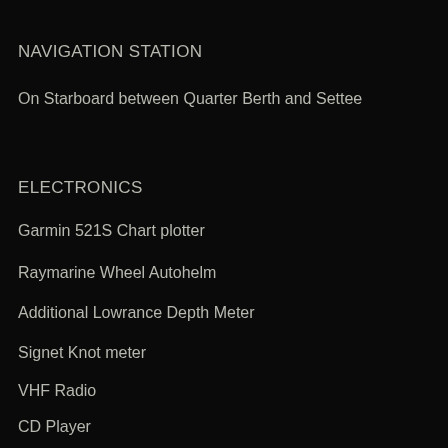NAVIGATION STATION
On Starboard between Quarter Berth and Settee
ELECTRONICS
Garmin 521S Chart plotter
Raymarine Wheel Autohelm
Additional Lowrance Depth Meter
Signet Knot meter
VHF Radio
CD Player
SALOON